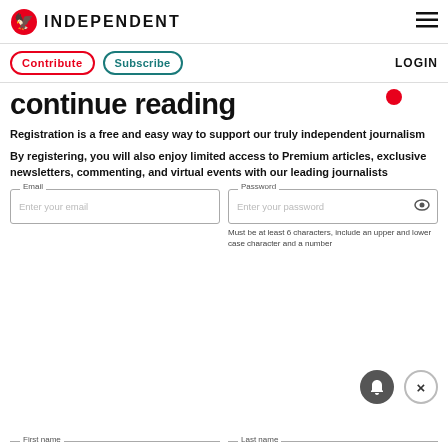INDEPENDENT
Contribute  Subscribe  LOGIN
continue reading
Registration is a free and easy way to support our truly independent journalism
By registering, you will also enjoy limited access to Premium articles, exclusive newsletters, commenting, and virtual events with our leading journalists
Email - Enter your email | Password - Enter your password
Must be at least 6 characters, include an upper and lower case character and a number
First name | Last name